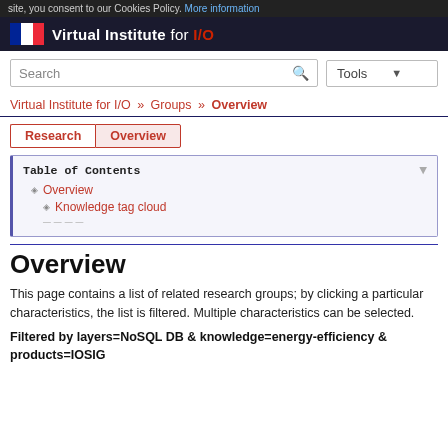site, you consent to our Cookies Policy. More information
[Figure (logo): Virtual Institute for I/O logo with French flag icon and text 'Virtual Institute for I/O']
Virtual Institute for I/O » Groups » Overview
Research | Overview (tabs)
Table of Contents
Overview
Knowledge tag cloud
Overview
This page contains a list of related research groups; by clicking a particular characteristics, the list is filtered. Multiple characteristics can be selected.
Filtered by layers=NoSQL DB & knowledge=energy-efficiency & products=IOSIG